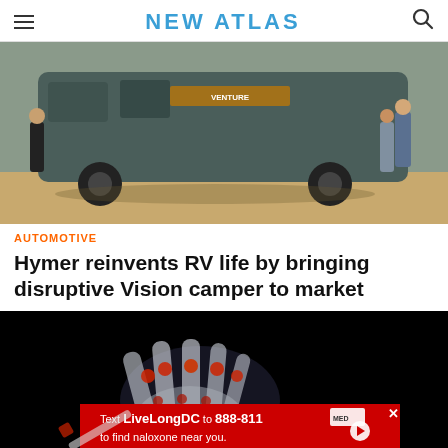NEW ATLAS
[Figure (photo): Large dark van/RV (Hymer Vision Venture) displayed in an exhibition hall with visitors around it, wooden floor visible]
AUTOMOTIVE
Hymer reinvents RV life by bringing disruptive Vision camper to market
[Figure (photo): X-ray style image of a hand with red glowing joints on black background, with a red advertisement banner overlay reading 'Text LiveLongDC to 888-811 to find naloxone near you.']